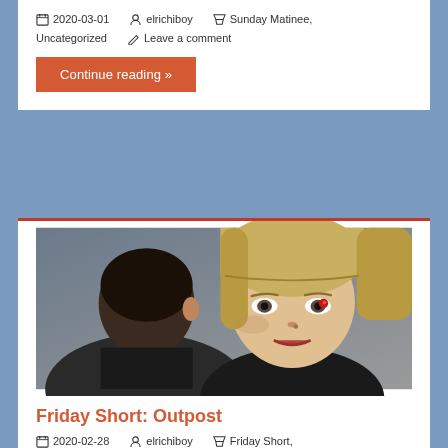2020-03-01   elrichiboy   Sunday Matinee, Uncategorized   Leave a comment
Continue reading »
[Figure (photo): Two people facing each other in close up: a dark-haired man from behind on the left, and a blonde woman with bangs looking directly forward with a small red dot on her eye on the right. Cinematic, sci-fi tone.]
Friday Short: Outpost
2020-02-28   elrichiboy   Friday Short, Uncategorized   Leave a comment